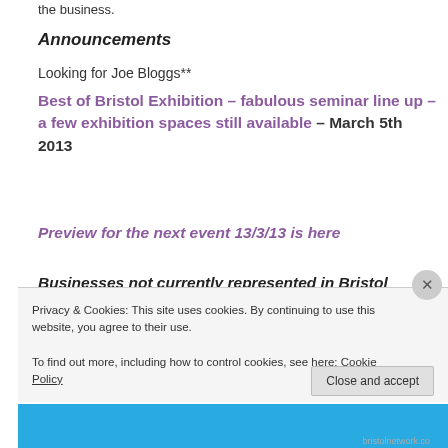the business.
Announcements
Looking for Joe Bloggs**
Best of Bristol Exhibition – fabulous seminar line up – a few exhibition spaces still available – March 5th 2013
Preview for the next event 13/3/13 is here
Businesses not currently represented in Bristol
Privacy & Cookies: This site uses cookies. By continuing to use this website, you agree to their use. To find out more, including how to control cookies, see here: Cookie Policy
Close and accept